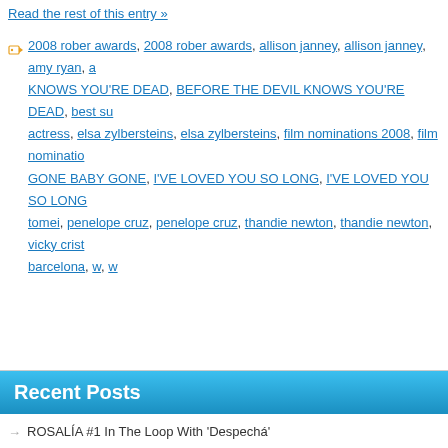Read the rest of this entry »
2008 rober awards, 2008 rober awards, allison janney, allison janney, amy ryan, a KNOWS YOU'RE DEAD, BEFORE THE DEVIL KNOWS YOU'RE DEAD, best su actress, elsa zylbersteins, elsa zylbersteins, film nominations 2008, film nominatio GONE BABY GONE, I'VE LOVED YOU SO LONG, I'VE LOVED YOU SO LONG tomei, penelope cruz, penelope cruz, thandie newton, thandie newton, vicky crist barcelona, w, w
Recent Posts
ROSALÍA #1 In The Loop With 'Despechá'
Lizzo Ready 2 Be Loved In The Loop
Jessie Ware Frees The Loop
Skullcrusher Quiets The Room On Top Of The Loop
The Latest Session by Bizarrap with Quevedo #1 In The Loop
English   Español   Fusion theme by di... Entries (RS...